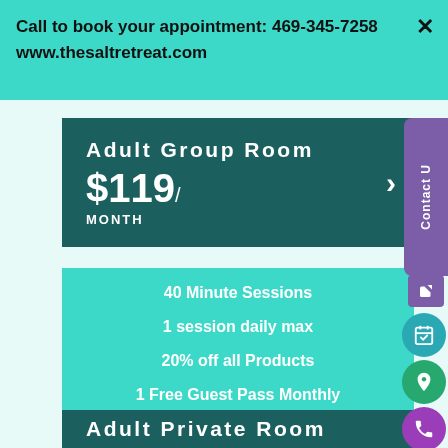Call to book your appointment: 469-345-7258
www.thesaltretreat.com
Adult Group Room $119/MONTH
40 Minute Sessions
1 session daily max
20% off all Products
1 Free Guest Pass Monthly
Adult Private Room